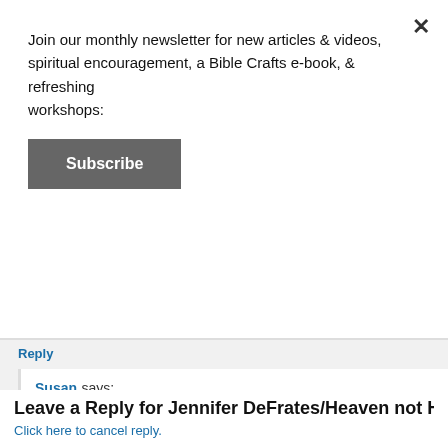Join our monthly newsletter for new articles & videos, spiritual encouragement, a Bible Crafts e-book, & refreshing workshops:
Subscribe
Reply
Susan says: December 3, 2017 at 9:55 pm
I should do more framed texture art. It looks so luxurious, and it's easy for kids to make!
Reply
Leave a Reply for Jennifer DeFrates/Heaven not Harva…
Click here to cancel reply.
Name (required)